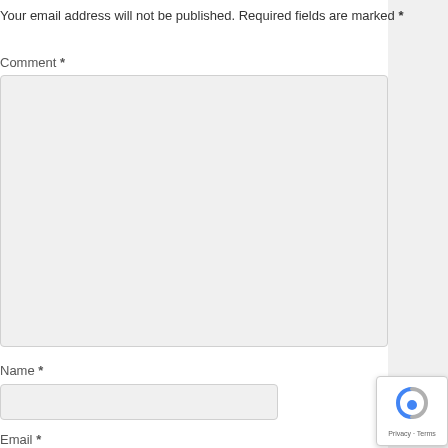Your email address will not be published. Required fields are marked *
Comment *
[Figure (other): Comment text area input box (large, light grey background)]
Name *
[Figure (other): Name input field (short, light grey background)]
Email *
[Figure (other): Email input field (short, light grey background)]
Website
[Figure (other): reCAPTCHA badge with shield icon and Privacy · Terms text]